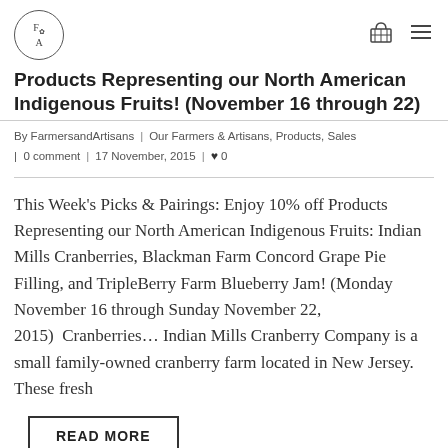FA [logo] | basket icon | menu icon
Products Representing our North American Indigenous Fruits! (November 16 through 22)
By FarmersandArtisans | Our Farmers & Artisans, Products, Sales | 0 comment | 17 November, 2015 | ♥ 0
This Week's Picks & Pairings: Enjoy 10% off Products Representing our North American Indigenous Fruits: Indian Mills Cranberries, Blackman Farm Concord Grape Pie Filling, and TripleBerry Farm Blueberry Jam! (Monday November 16 through Sunday November 22, 2015)  Cranberries... Indian Mills Cranberry Company is a small family-owned cranberry farm located in New Jersey. These fresh
READ MORE